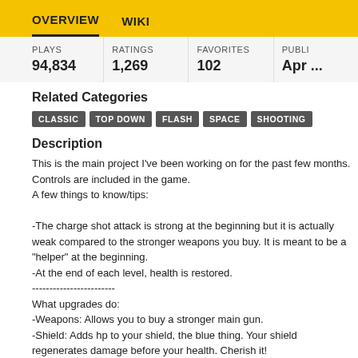OVERVIEW   WIKI
| PLAYS | RATINGS | FAVORITES | PUBLI... |
| --- | --- | --- | --- |
| 94,834 | 1,269 | 102 | Apr ... |
Related Categories
CLASSIC
TOP DOWN
FLASH
SPACE
SHOOTING
Description
This is the main project I've been working on for the past few months. Controls are included in the game.
A few things to know/tips:

-The charge shot attack is strong at the beginning but it is actually weak compared to the stronger weapons you buy. It is meant to be a "helper" at the beginning.
-At the end of each level, health is restored.
------------------------
What upgrades do:
-Weapons: Allows you to buy a stronger main gun.
-Shield: Adds hp to your shield, the blue thing. Your shield regenerates damage before your health. Cherish it!
-Health: The green thing, the majority of your health points. Upgrading t...